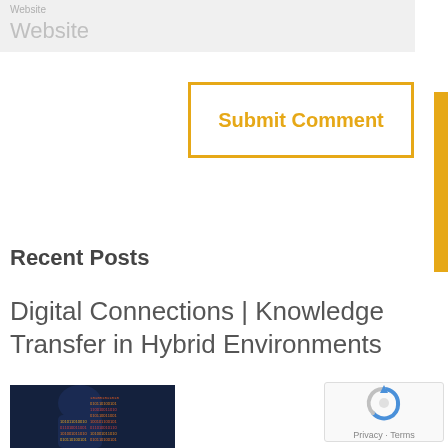Website
Submit Comment
Recent Posts
Digital Connections | Knowledge Transfer in Hybrid Environments
[Figure (photo): Dark background image with a human silhouette formed by binary code/text in orange, red, and yellow colors.]
[Figure (other): reCAPTCHA widget showing the recaptcha icon with Privacy and Terms links below.]